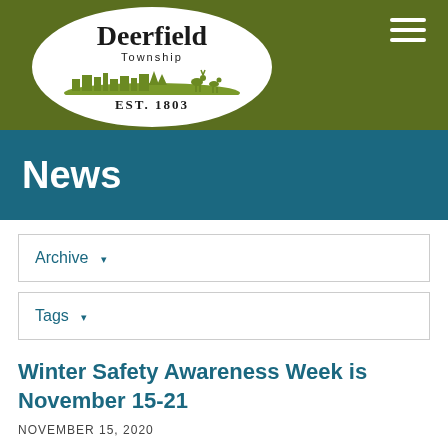[Figure (logo): Deerfield Township logo — oval shape with 'Deerfield Township EST. 1803' text and green skyline silhouette with deer]
News
Archive ▾
Tags ▾
Winter Safety Awareness Week is November 15-21
NOVEMBER 15, 2020